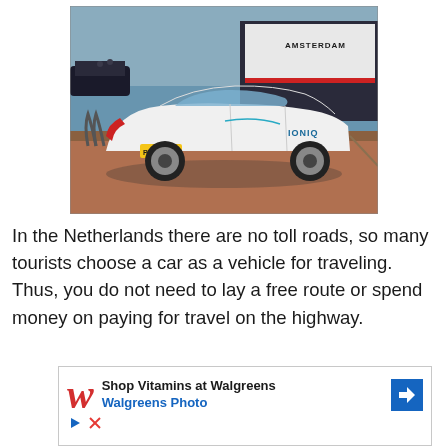[Figure (photo): Hyundai IONIQ electric car (white, license plate PW-400-L) parked near a canal in Amsterdam, Netherlands. A boat with 'AMSTERDAM' written on it is visible in the background.]
In the Netherlands there are no toll roads, so many tourists choose a car as a vehicle for traveling. Thus, you do not need to lay a free route or spend money on paying for travel on the highway.
[Figure (screenshot): Advertisement for Walgreens: 'Shop Vitamins at Walgreens' with Walgreens Photo subtitle and navigation arrow icon. Has play and close icons at bottom.]